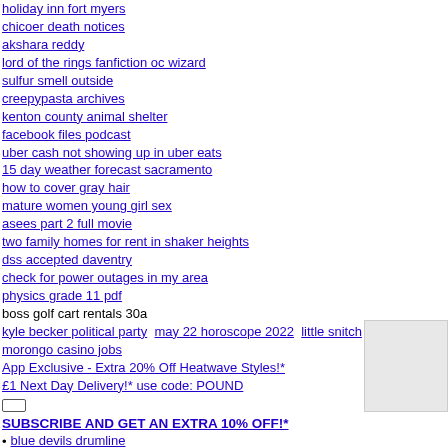holiday inn fort myers
chicoer death notices
akshara reddy
lord of the rings fanfiction oc wizard
sulfur smell outside
creepypasta archives
kenton county animal shelter
facebook files podcast
uber cash not showing up in uber eats
15 day weather forecast sacramento
how to cover gray hair
mature women young girl sex
asees part 2 full movie
two family homes for rent in shaker heights
dss accepted daventry
check for power outages in my area
physics grade 11 pdf
boss golf cart rentals 30a
kyle becker political party  may 22 horoscope 2022  little snitch
morongo casino jobs
App Exclusive - Extra 20% Off Heatwave Styles!*
£1 Next Day Delivery!* use code: POUND
SUBSCRIBE AND GET AN EXTRA 10% OFF!*
blue devils drumline